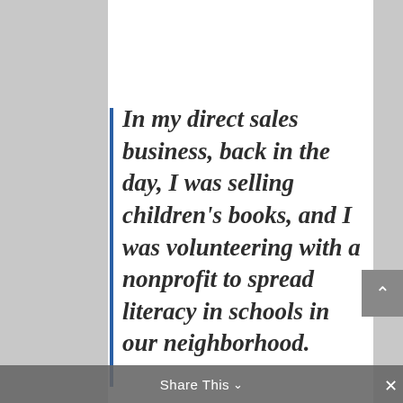In my direct sales business, back in the day, I was selling children's books, and I was volunteering with a nonprofit to spread literacy in schools in our neighborhood.
Share This